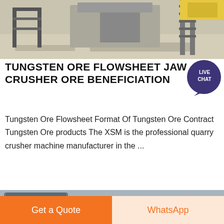[Figure (photo): Industrial quarry/crusher equipment on sandy ground, partial top view]
TUNGSTEN ORE FLOWSHEET JAW CRUSHER ORE BENEFICIATION
[Figure (logo): Live Chat badge – teal speech bubble with LIVE CHAT text]
Tungsten Ore Flowsheet Format Of Tungsten Ore Contract Tungsten Ore products The XSM is the professional quarry crusher machine manufacturer in the ...
[Figure (photo): Industrial grinding/milling plant with large cylindrical equipment, ducts, and blue motor unit against grey sky]
Get a Quote
WhatsApp